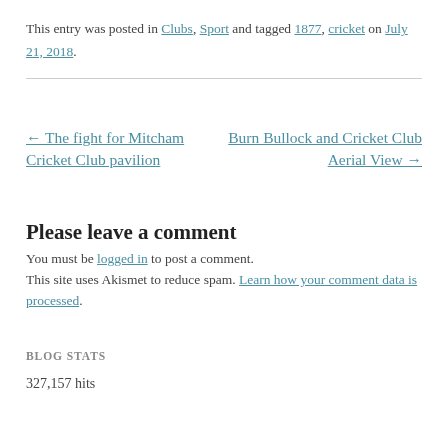This entry was posted in Clubs, Sport and tagged 1877, cricket on July 21, 2018.
← The fight for Mitcham Cricket Club pavilion
Burn Bullock and Cricket Club Aerial View →
Please leave a comment
You must be logged in to post a comment. This site uses Akismet to reduce spam. Learn how your comment data is processed.
BLOG STATS
327,157 hits